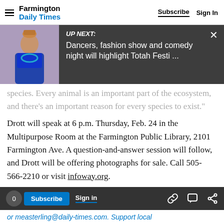Farmington Daily Times  Subscribe  Sign In
[Figure (screenshot): UP NEXT overlay banner with thumbnail image of a Native American woman, showing text: 'UP NEXT: Dancers, fashion show and comedy night will highlight Totah Festi ...' with a close X button]
species. Every animal is an important part of the ecosystem, and there's an important reason for every species to exist."
Drott will speak at 6 p.m. Thursday, Feb. 24 in the Multipurpose Room at the Farmington Public Library, 2101 Farmington Ave. A question-and-answer session will follow, and Drott will be offering photographs for sale. Call 505-566-2210 or visit infoway.org.
or measterling@daily-times.com.  Support local